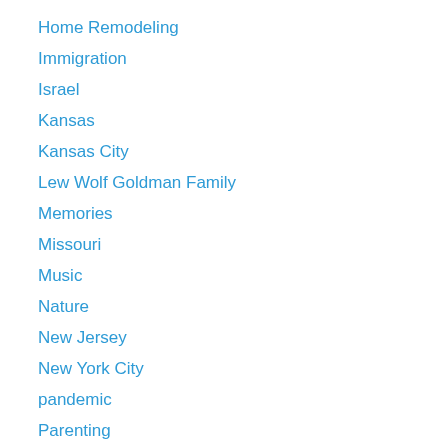Home Remodeling
Immigration
Israel
Kansas
Kansas City
Lew Wolf Goldman Family
Memories
Missouri
Music
Nature
New Jersey
New York City
pandemic
Parenting
Pets
solar panels
Szenk Feuer Blogs
Terror
Travel
Travel blog Book